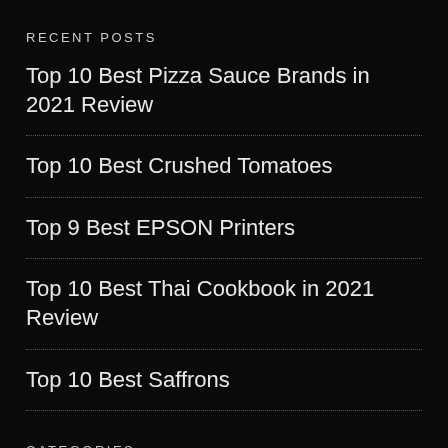RECENT POSTS
Top 10 Best Pizza Sauce Brands in 2021 Review
Top 10 Best Crushed Tomatoes
Top 9 Best EPSON Printers
Top 10 Best Thai Cookbook in 2021 Review
Top 10 Best Saffrons
CATEGORIES
Automotive